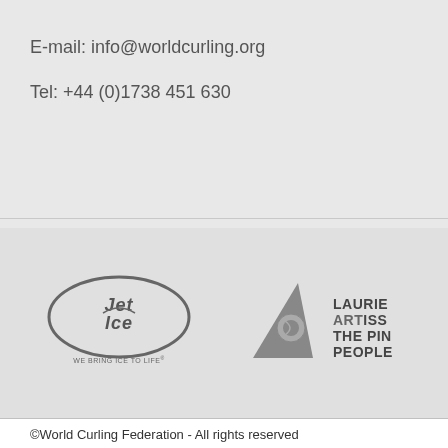E-mail: info@worldcurling.org
Tel: +44 (0)1738 451 630
[Figure (logo): Jet Ice logo with text WE BRING ICE TO LIFE]
[Figure (logo): Laurie Artiss The Pin People logo]
©World Curling Federation - All rights reserved